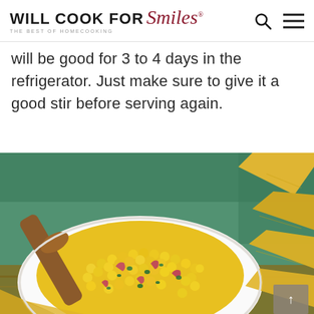WILL COOK FOR Smiles® THE BEST OF HOMECOOKING
will be good for 3 to 4 days in the refrigerator. Just make sure to give it a good stir before serving again.
[Figure (photo): A white bowl filled with corn salsa made of corn kernels, diced red onion, and chopped cilantro, with a wooden spoon, surrounded by yellow tortilla chips on a wooden surface with a green checkered background.]